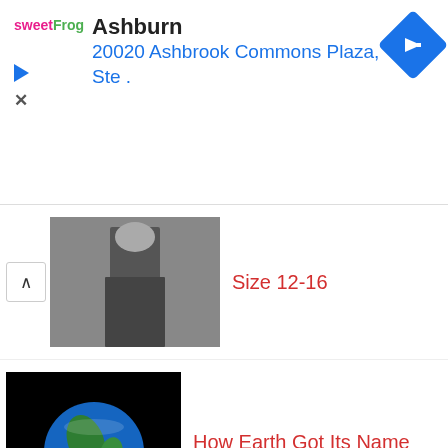[Figure (other): Advertisement banner for sweetFrog with location: Ashburn, 20020 Ashbrook Commons Plaza, Ste. with navigation icon]
Size 12-16
How Earth Got Its Name
A Japanese Soldier Who Continued Fighting WWII 29 Years After the Japanese Surrendered, Because He Didn't Know
What Causes “Eye Floaters”